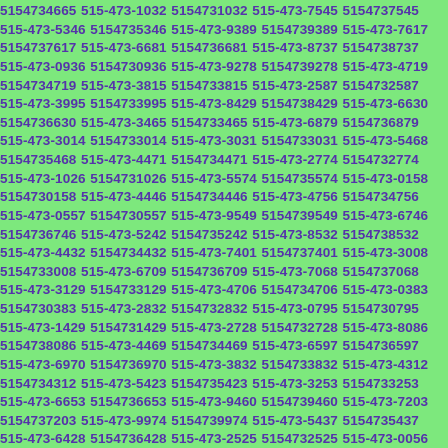5154734665 515-473-1032 5154731032 515-473-7545 515473-7545 515-473-5346 5154735346 515-473-9389 5154739389 515-473-7617 5154737617 515-473-6681 5154736681 515-473-8737 5154738737 515-473-0936 5154730936 515-473-9278 5154739278 515-473-4719 5154734719 515-473-3815 5154733815 515-473-2587 5154732587 515-473-3995 5154733995 515-473-8429 5154738429 515-473-6630 5154736630 515-473-3465 5154733465 515-473-6879 5154736879 515-473-3014 5154733014 515-473-3031 5154733031 515-473-5468 5154735468 515-473-4471 5154734471 515-473-2774 5154732774 515-473-1026 5154731026 515-473-5574 5154735574 515-473-0158 5154730158 515-473-4446 5154734446 515-473-4756 5154734756 515-473-0557 5154730557 515-473-9549 5154739549 515-473-6746 5154736746 515-473-5242 5154735242 515-473-8532 5154738532 515-473-4432 5154734432 515-473-7401 5154737401 515-473-3008 5154733008 515-473-6709 5154736709 515-473-7068 5154737068 515-473-3129 5154733129 515-473-4706 5154734706 515-473-0383 5154730383 515-473-2832 5154732832 515-473-0795 5154730795 515-473-1429 5154731429 515-473-2728 5154732728 515-473-8086 5154738086 515-473-4469 5154734469 515-473-6597 5154736597 515-473-6970 5154736970 515-473-3832 5154733832 515-473-4312 5154734312 515-473-5423 5154735423 515-473-3253 5154733253 515-473-6653 5154736653 515-473-9460 5154739460 515-473-7203 5154737203 515-473-9974 5154739974 515-473-5437 5154735437 515-473-6428 5154736428 515-473-2525 5154732525 515-473-0056 5154730056 515-473-1317 5154731317 515-473-6128 5154736128 515-473-5247 5154735247 515-473-6224 5154736224